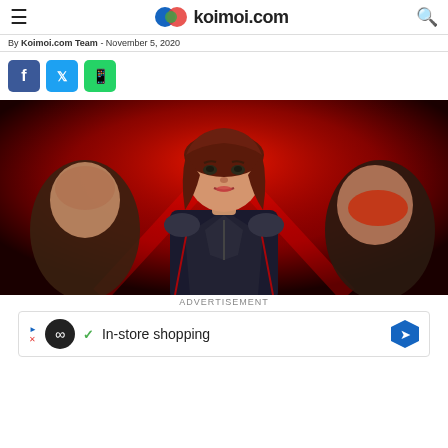koimoi.com
By Koimoi.com Team - November 5, 2020
[Figure (illustration): Social media share buttons: Facebook (blue), Twitter (light blue), WhatsApp (green)]
[Figure (photo): Black Widow movie promotional poster featuring a woman in a black tactical suit with red hair, centered against a red background with other characters flanking her on both sides]
ADVERTISEMENT
[Figure (screenshot): Advertisement banner with circular logo, checkmark, In-store shopping text, and blue arrow icon]